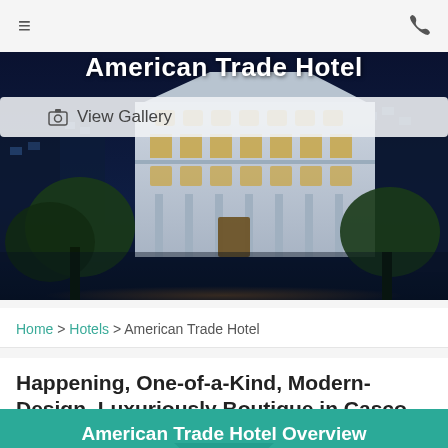[Figure (photo): Hero image of American Trade Hotel building at night, a white colonial-style multi-story hotel with arched windows illuminated against a dark blue sky, surrounded by trees]
American Trade Hotel
View Gallery
Home > Hotels > American Trade Hotel
Happening, One-of-a-Kind, Modern-Design, Luxuriously Boutique in Casco Viejo
American Trade Hotel Overview